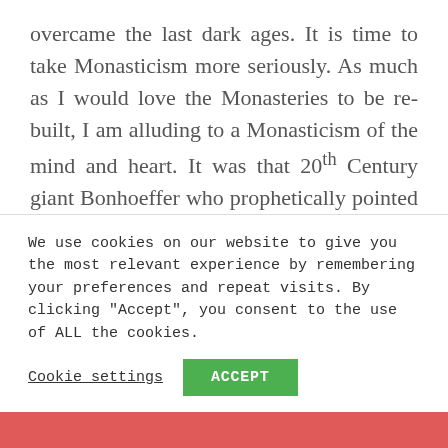overcame the last dark ages. It is time to take Monasticism more seriously. As much as I would love the Monasteries to be re-built, I am alluding to a Monasticism of the mind and heart. It was that 20th Century giant Bonhoeffer who prophetically pointed to the essential vitality of a life formed by new monastic practises.
'The restoration of the church will surely come only from a new type of monasticism...
We use cookies on our website to give you the most relevant experience by remembering your preferences and repeat visits. By clicking "Accept", you consent to the use of ALL the cookies.